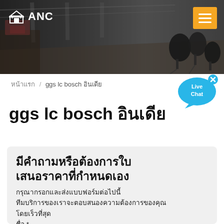[Figure (photo): Industrial/factory background with microphones, dark toned header banner image]
ANC
หน้าแรก / ggs lc bosch อินเดีย
[Figure (illustration): Live Chat speech bubble icon in blue with x close button]
ggs lc bosch อินเดีย
มีคำถามหรือต้องการใบเสนอราคาที่กำหนดเอง
กรุณากรอกและส่งแบบฟอร์มต่อไปนี้
ทีมบริการของเราจะตอบสนองความต้องการของคุณ
โดยเร็วที่สุด
ชื่อ *